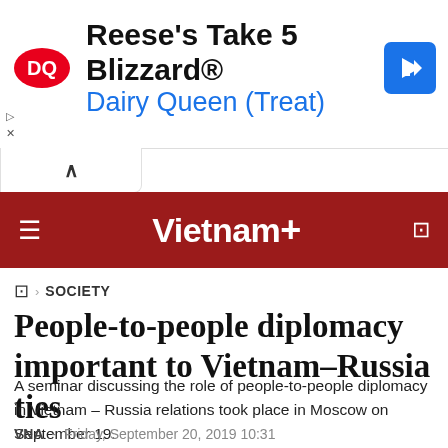[Figure (infographic): Dairy Queen advertisement banner showing DQ logo, 'Reese's Take 5 Blizzard® Dairy Queen (Treat)' text, and a blue navigation arrow icon]
[Figure (logo): VietnamPlus red header bar with hamburger menu icon, VietnamPlus logo in white bold text with cross symbol, and search icon]
SOCIETY
People-to-people diplomacy important to Vietnam–Russia ties
A seminar discussing the role of people-to-people diplomacy in Vietnam – Russia relations took place in Moscow on September 19.
VNA - Friday, September 20, 2019 10:31